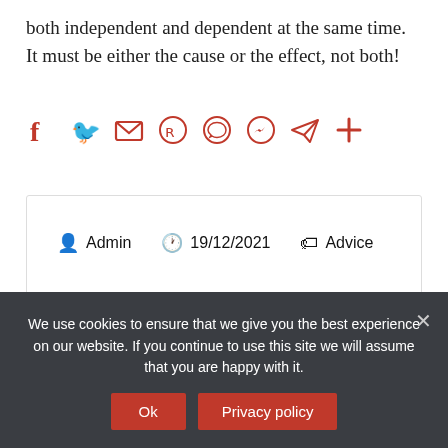both independent and dependent at the same time. It must be either the cause or the effect, not both!
[Figure (other): Social share icons bar: Facebook, Twitter, Email, Reddit, WhatsApp, Messenger, Telegram, More (+)]
Admin  19/12/2021  Advice
◄ What can I do instead of Facebook?
We use cookies to ensure that we give you the best experience on our website. If you continue to use this site we will assume that you are happy with it.